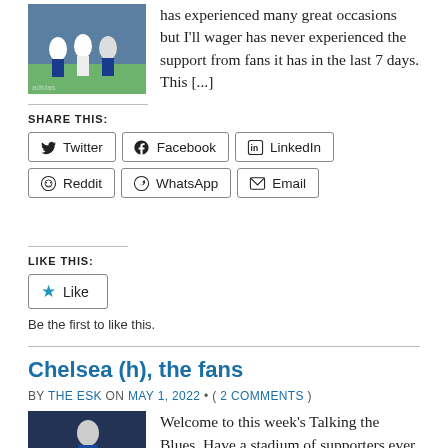has experienced many great occasions but I'll wager has never experienced the support from fans it has in the last 7 days. This [...]
SHARE THIS:
Twitter | Facebook | LinkedIn | Reddit | WhatsApp | Email
LIKE THIS:
Like
Be the first to like this.
Chelsea (h), the fans
BY THE ESK ON MAY 1, 2022 • ( 2 COMMENTS )
Welcome to this week's Talking the Blues. Have a stadium of supporters ever walked out of their ground feeling so proud of their